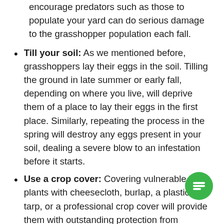encourage predators such as those to populate your yard can do serious damage to the grasshopper population each fall.
Till your soil: As we mentioned before, grasshoppers lay their eggs in the soil. Tilling the ground in late summer or early fall, depending on where you live, will deprive them of a place to lay their eggs in the first place. Similarly, repeating the process in the spring will destroy any eggs present in your soil, dealing a severe blow to an infestation before it starts.
Use a crop cover: Covering vulnerable plants with cheesecloth, burlap, a plastic tarp, or a professional crop cover will provide them with outstanding protection from grasshoppers. After all, if they can't get to the plant, they can't eat it! Eventually, they'll move along in search of food